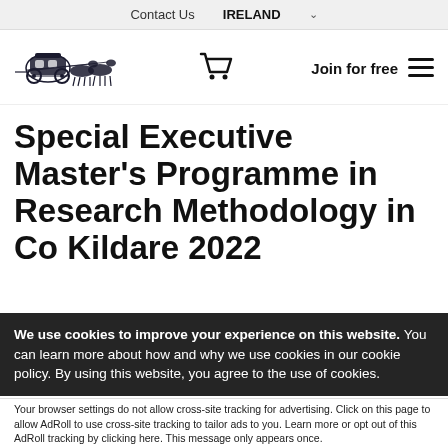Contact Us   IRELAND
[Figure (logo): Horse-drawn carriage logo (dark illustration)]
Special Executive Master's Programme in Research Methodology in Co Kildare 2022
We use cookies to improve your experience on this website. You can learn more about how and why we use cookies in our cookie policy. By using this website, you agree to the use of cookies.
Accept and Close ×
Your browser settings do not allow cross-site tracking for advertising. Click on this page to allow AdRoll to use cross-site tracking to tailor ads to you. Learn more or opt out of this AdRoll tracking by clicking here. This message only appears once.